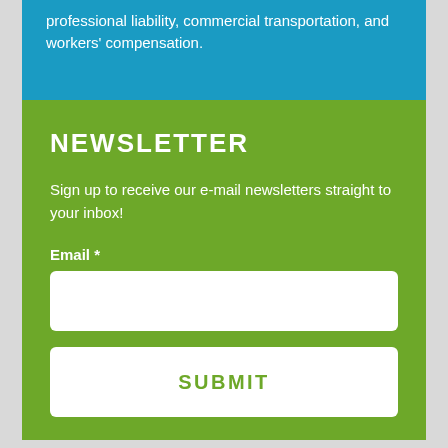professional liability, commercial transportation, and workers' compensation.
NEWSLETTER
Sign up to receive our e-mail newsletters straight to your inbox!
Email *
[Figure (other): White empty email input text field]
[Figure (other): White submit button with green text reading SUBMIT]